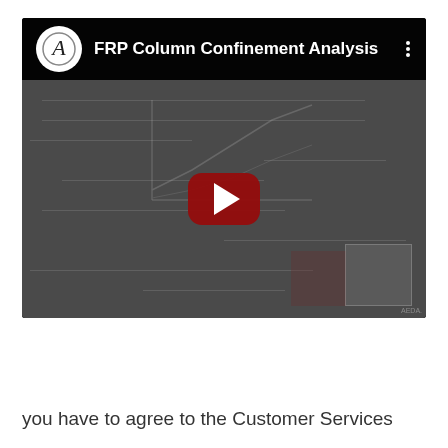[Figure (screenshot): YouTube video thumbnail/player for 'FRP Column Confinement Analysis' showing a software interface screenshot in the background with a play button overlay. The video player has a dark top bar with a circular logo (letter A) and the title 'FRP Column Confinement Analysis', and three vertical dots menu icon.]
you have to agree to the Customer Services